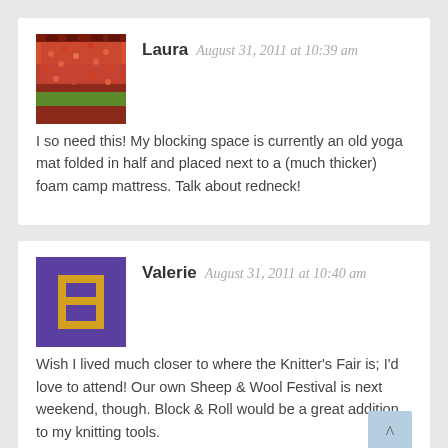[Figure (photo): Laura's avatar: photo of a stadium filled with orange-clad fans]
Laura  August 31, 2011 at 10:39 am
I so need this! My blocking space is currently an old yoga mat folded in half and placed next to a (much thicker) foam camp mattress. Talk about redneck!
[Figure (illustration): Valerie's avatar: pixel-art style gold icon on purple background]
Valerie  August 31, 2011 at 10:40 am
Wish I lived much closer to where the Knitter's Fair is; I'd love to attend! Our own Sheep & Wool Festival is next weekend, though. Block & Roll would be a great addition to my knitting tools.